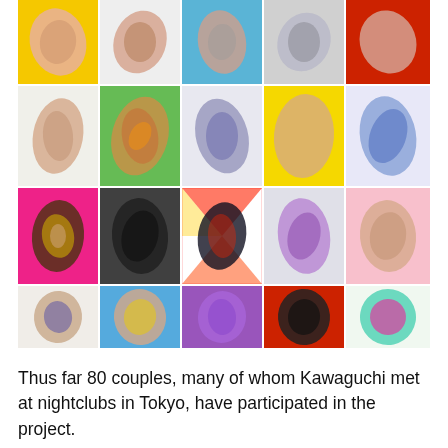[Figure (photo): A collage of 20 photographs arranged in a 5×4 grid showing couples wrapped in clear plastic/cellophane, photographed from above against colorful backgrounds including yellow, blue, red, green, pink, and patterned backdrops. The subjects appear to be in various intertwined poses.]
Thus far 80 couples, many of whom Kawaguchi met at nightclubs in Tokyo, have participated in the project.